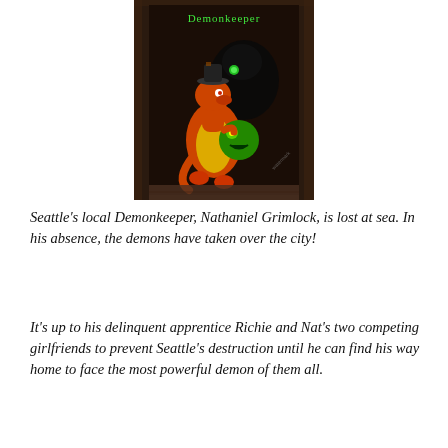[Figure (illustration): Illustrated image showing an orange cartoon dragon character wearing a hat, holding a green round demon creature, set in a dark wooden doorway. Green glowing text appears at the top of the image.]
Seattle's local Demonkeeper, Nathaniel Grimlock, is lost at sea. In his absence, the demons have taken over the city!
It's up to his delinquent apprentice Richie and Nat's two competing girlfriends to prevent Seattle's destruction until he can find his way home to face the most powerful demon of them all.